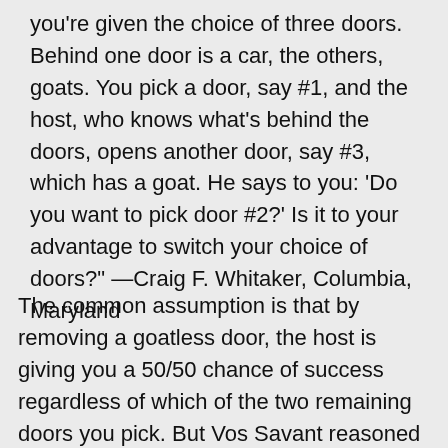you're given the choice of three doors. Behind one door is a car, the others, goats. You pick a door, say #1, and the host, who knows what's behind the doors, opens another door, say #3, which has a goat. He says to you: 'Do you want to pick door #2?' Is it to your advantage to switch your choice of doors?" —Craig F. Whitaker, Columbia, Maryland
The common assumption is that by removing a goatless door, the host is giving you a 50/50 chance of success regardless of which of the two remaining doors you pick. But Vos Savant reasoned that by switching your choice of doors, your probability of